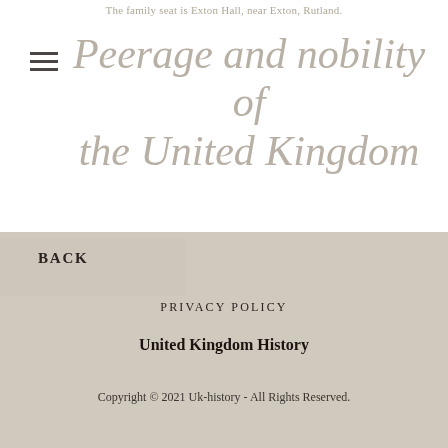The family seat is Exton Hall, near Exton, Rutland.
Peerage and nobility of the United Kingdom
BACK
PRIVACY POLICY
United Kingdom History
Copyright © 2021 Uk-history - All Rights Reserved.